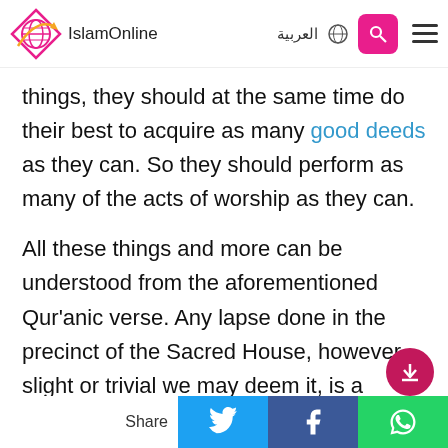IslamOnline | العربية
things, they should at the same time do their best to acquire as many good deeds as they can. So they should perform as many of the acts of worship as they can.
All these things and more can be understood from the aforementioned Qur'anic verse. Any lapse done in the precinct of the Sacred House, however slight or trivial we may deem it, is a violation that should be avoided. Allah Almighty
Share